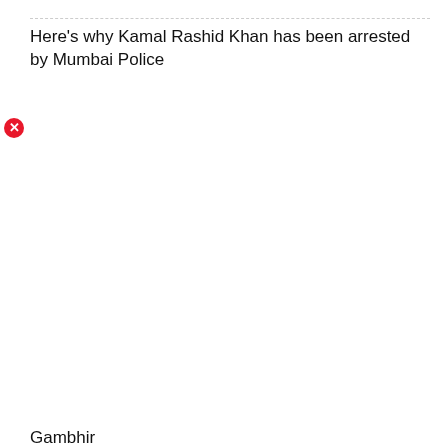Here's why Kamal Rashid Khan has been arrested by Mumbai Police
[Figure (other): Red error/broken image icon (circle with X)]
Gambhir